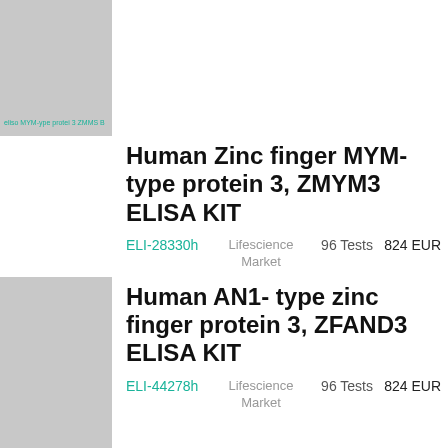[Figure (photo): Product image placeholder for ZMYM3 ELISA KIT, partially visible at top of page]
Human Zinc finger MYM- type protein 3, ZMYM3 ELISA KIT
ELI-28330h   Lifescience Market   96 Tests   824 EUR
[Figure (photo): Product image placeholder for ZFAND3 ELISA KIT]
Human AN1- type zinc finger protein 3, ZFAND3 ELISA KIT
ELI-44278h   Lifescience Market   96 Tests   824 EUR
[Figure (photo): Product image placeholder for next product, partially visible at bottom of page]